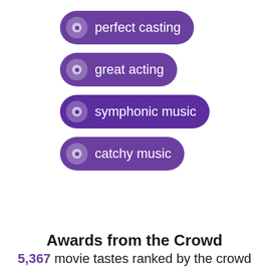perfect casting
great acting
symphonic music
catchy music
Awards from the Crowd
5,367 movie tastes ranked by the crowd